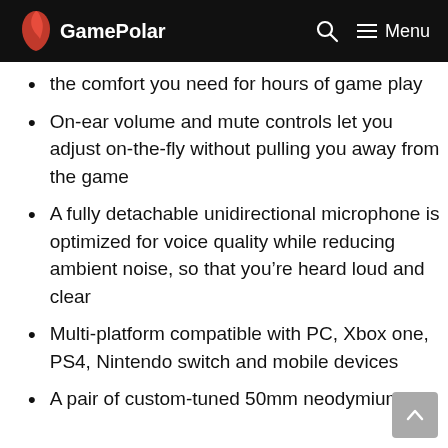GamePolar
the comfort you need for hours of game play
On-ear volume and mute controls let you adjust on-the-fly without pulling you away from the game
A fully detachable unidirectional microphone is optimized for voice quality while reducing ambient noise, so that you’re heard loud and clear
Multi-platform compatible with PC, Xbox one, PS4, Nintendo switch and mobile devices
A pair of custom-tuned 50mm neodymium